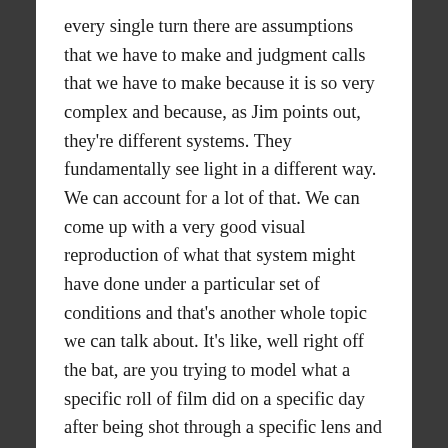every single turn there are assumptions that we have to make and judgment calls that we have to make because it is so very complex and because, as Jim points out, they're different systems. They fundamentally see light in a different way. We can account for a lot of that. We can come up with a very good visual reproduction of what that system might have done under a particular set of conditions and that's another whole topic we can talk about. It's like, well right off the bat, are you trying to model what a specific roll of film did on a specific day after being shot through a specific lens and processed through a specific bath and printed to a specific manufactured film print, like an individual unit of film print? Or are you trying to get some kind of idealized best fit, like if I average together a hundred different film negatives capturing the same thing in and 100 different film prints capturing the same thing, I'm not going to get the same result every time because it's an analog format. Do I average those all